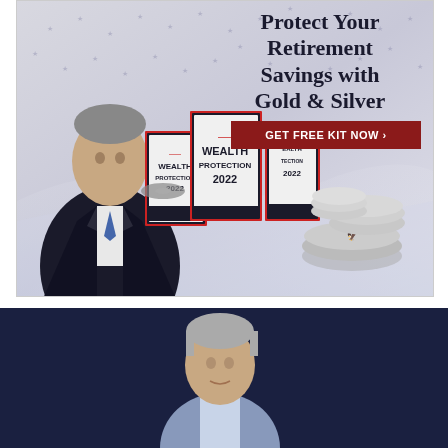[Figure (infographic): Advertisement banner featuring a man in a dark suit on the left side against a stars background, with text 'Protect Your Retirement Savings with Gold & Silver' on the right, a dark red 'GET FREE KIT NOW >' button, and book/kit products labeled 'WEALTH PROTECTION 2022' along with silver coins at the bottom right.]
[Figure (photo): Photo of a middle-aged man with grey hair wearing a light blue shirt, shown from shoulders up against a dark navy blue background.]